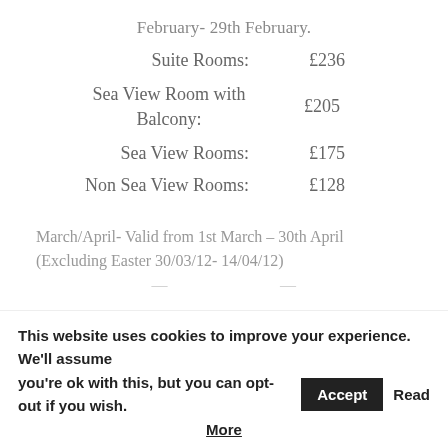February- 29th February.
Suite Rooms: £236
Sea View Room with Balcony: £205
Sea View Rooms: £175
Non Sea View Rooms: £128
March/April- Valid from 1st March – 30th April (Excluding Easter 30/03/12- 14/04/12)
This website uses cookies to improve your experience. We'll assume you're ok with this, but you can opt-out if you wish. Accept Read More